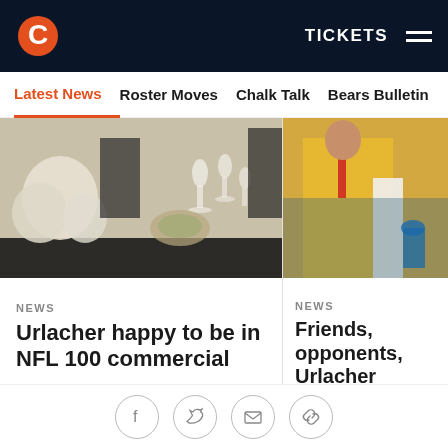Chicago Bears — TICKETS
Latest News | Roster Moves | Chalk Talk | Bears Bulletin
[Figure (photo): Photo of a dinner table setting with wine glasses and floral centerpiece, from the NFL 100 commercial]
NEWS
Urlacher happy to be in NFL 100 commercial
Bears Hall of Fame middle linebacker Brian Urlacher enjoyed being part of the NFL 100 commercial that aired during the Super Bowl and features many of the best players in NFL history.
[Figure (photo): Partial photo of person in yellow/orange clothing, related to Urlacher Hall of Fame story]
NEWS
Friends, opponents, Urlacher
Before, during Football Hall of ceremony, the newest Bears social media v
Social share icons: Facebook, Twitter, Email, Link